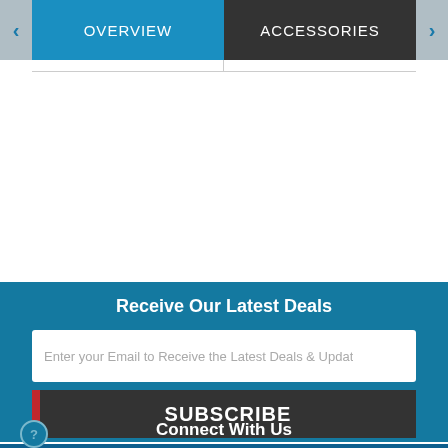OVERVIEW | ACCESSORIES
Receive Our Latest Deals
Enter your Email to Receive the Latest Deals & Updat
SUBSCRIBE
Connect With Us